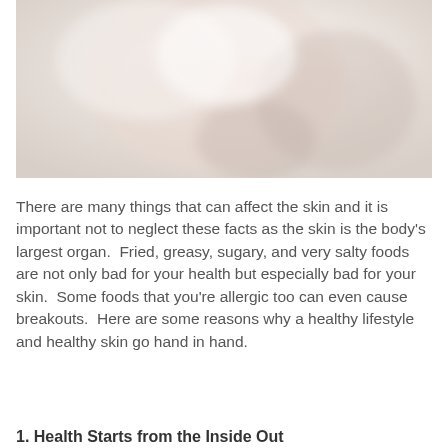[Figure (photo): A soft, blurred photograph showing a person's face or skin, with light pink and white tones, suggesting a skincare or health context.]
There are many things that can affect the skin and it is important not to neglect these facts as the skin is the body's largest organ.  Fried, greasy, sugary, and very salty foods are not only bad for your health but especially bad for your skin.  Some foods that you're allergic too can even cause breakouts.  Here are some reasons why a healthy lifestyle and healthy skin go hand in hand.
1. Health Starts from the Inside Out